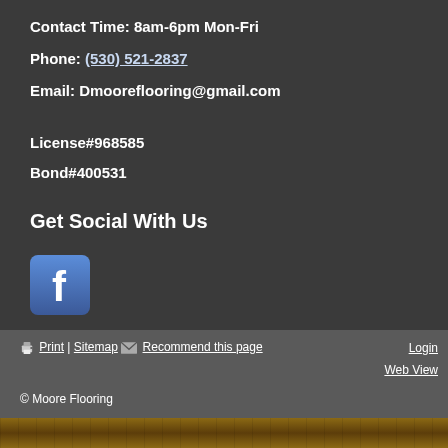Contact Time: 8am-6pm Mon-Fri
Phone: (530) 521-2837
Email: Dmooreflooring@gmail.com
License#968585
Bond#400531
Get Social With Us
[Figure (logo): Facebook logo icon — blue rounded square with white 'f' letter]
Print | Sitemap  Recommend this page   Login  Web View  © Moore Flooring